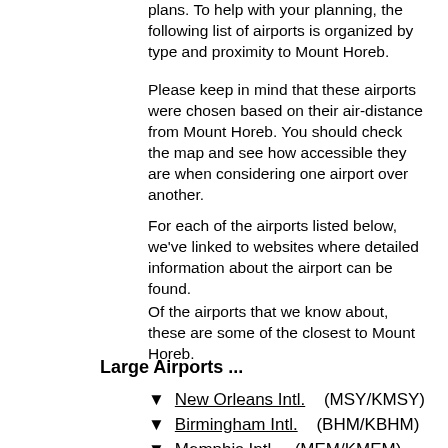plans. To help with your planning, the following list of airports is organized by type and proximity to Mount Horeb.
Please keep in mind that these airports were chosen based on their air-distance from Mount Horeb. You should check the map and see how accessible they are when considering one airport over another.
For each of the airports listed below, we've linked to websites where detailed information about the airport can be found.
Of the airports that we know about, these are some of the closest to Mount Horeb.
Large Airports ...
▼ New Orleans Intl.  (MSY/KMSY)
▼ Birmingham Intl.  (BHM/KBHM)
▼ Memphis Intl.  (MEM/KMEM)